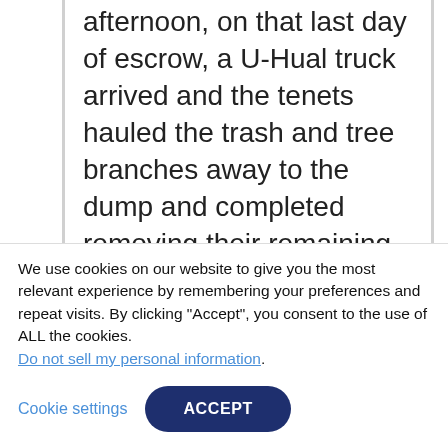afternoon, on that last day of escrow, a U-Hual truck arrived and the tenets hauled the trash and tree branches away to the dump and completed removing their remaining items at the very last minute possible. Donna handled all this drama while I enjoyed the winter sunshine in Arizona. Donna gets 5 stars. I highly recommend her to anyone considering buying or selling a mobile in San Diego county.
February 24, 2020
We use cookies on our website to give you the most relevant experience by remembering your preferences and repeat visits. By clicking "Accept", you consent to the use of ALL the cookies. Do not sell my personal information.